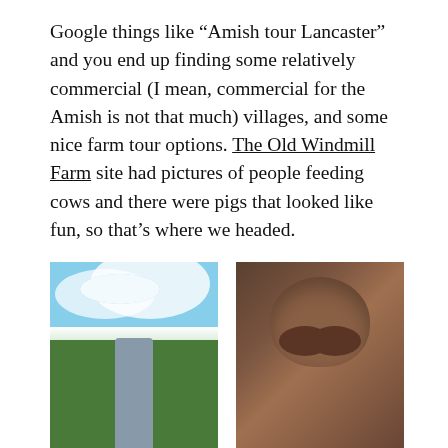Google things like “Amish tour Lancaster” and you end up finding some relatively commercial (I mean, commercial for the Amish is not that much) villages, and some nice farm tour options. The Old Windmill Farm site had pictures of people feeding cows and there were pigs that looked like fun, so that’s where we headed.
[Figure (photo): An Amish man wearing a straw hat and suspenders standing in a green field under a blue sky with white clouds]
[Figure (photo): Close-up photograph of a cow or pig face from the front]